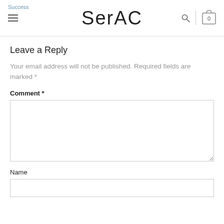Success | SerAC
Leave a Reply
Your email address will not be published. Required fields are marked *
Comment *
Name